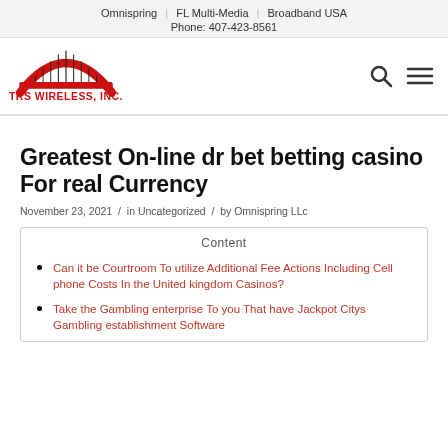Omnispring | FL Multi-Media | Broadband USA
Phone: 407-423-8561
[Figure (logo): TRS Wireless, Inc. logo with red arch and antenna graphic]
Greatest On-line dr bet betting casino For real Currency
November 23, 2021 / in Uncategorized / by Omnispring LLc
Content
Can it be Courtroom To utilize Additional Fee Actions Including Cell phone Costs In the United kingdom Casinos?
Take the Gambling enterprise To you That have Jackpot Citys Gambling establishment Software